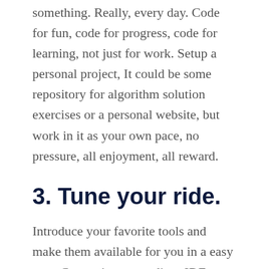something. Really, every day. Code for fun, code for progress, code for learning, not just for work. Setup a personal project, It could be some repository for algorithm solution exercises or a personal website, but work in it as your own pace, no pressure, all enjoyment, all reward.
3. Tune your ride.
Introduce your favorite tools and make them available for you in a easy way. Customize your editor, IDE, compiler, automate some scripts, include your favorite plugins, make it portable, automatic, pimp your ride, honey your axe every day, pimp your ride, get ready your